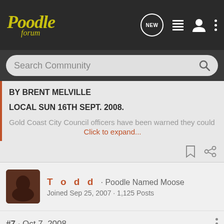Poodle forum — navigation bar with NEW, list, user, and menu icons
Search Community
BY BRENT MELVILLE
LOCAL SUN 16TH SEPT. 2008.
Gold Coast City Council officers have been warned they could
Click to expand...
T o d d · Poodle Named Moose
Joined Sep 25, 2007 · 1,125 Posts
#7 · Oct 7, 2008